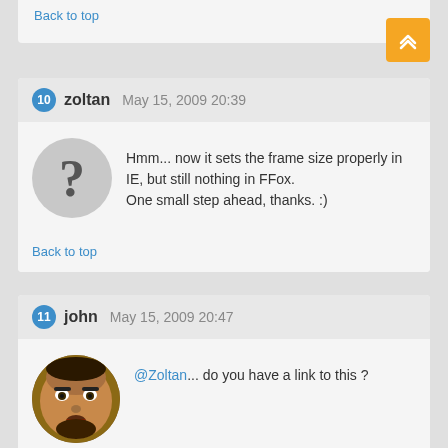Back to top
10 zoltan May 15, 2009 20:39
Hmm... now it sets the frame size properly in IE, but still nothing in FFox.
One small step ahead, thanks. :)
Back to top
11 john May 15, 2009 20:47
@Zoltan... do you have a link to this ?